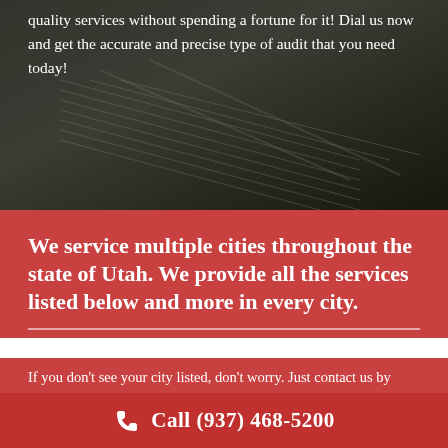[Figure (photo): Aerial/overhead view of building rooftop with metal roofing panels and surrounding structures, dark muted tones]
quality services without spending a fortune for it! Dial us now and get the accurate and precise type of audit that you need today!
We service multiple cities throughout the state of Utah. We provide all the services listed below and more in every city.
If you don't see your city listed, don't worry. Just contact us by giving us a call or filling out the form,
Call (937) 468-5200